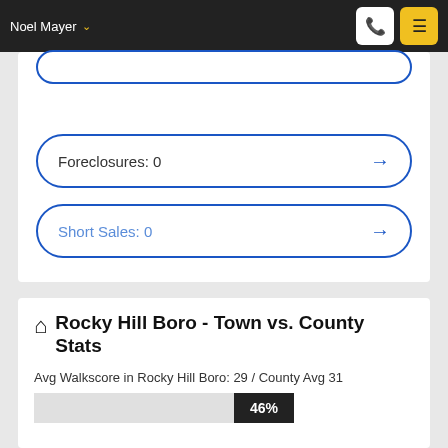Noel Mayer
Foreclosures: 0
Short Sales: 0
Rocky Hill Boro - Town vs. County Stats
Avg Walkscore in Rocky Hill Boro: 29 / County Avg 31
[Figure (bar-chart): Avg Walkscore percentage bar]